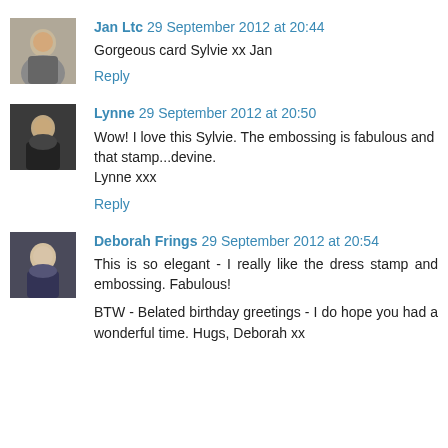[Figure (photo): Avatar photo of Jan Ltc]
Jan Ltc 29 September 2012 at 20:44
Gorgeous card Sylvie xx Jan
Reply
[Figure (photo): Avatar photo of Lynne]
Lynne 29 September 2012 at 20:50
Wow! I love this Sylvie. The embossing is fabulous and that stamp...devine.
Lynne xxx
Reply
[Figure (photo): Avatar photo of Deborah Frings]
Deborah Frings 29 September 2012 at 20:54
This is so elegant - I really like the dress stamp and embossing. Fabulous!

BTW - Belated birthday greetings - I do hope you had a wonderful time. Hugs, Deborah xx